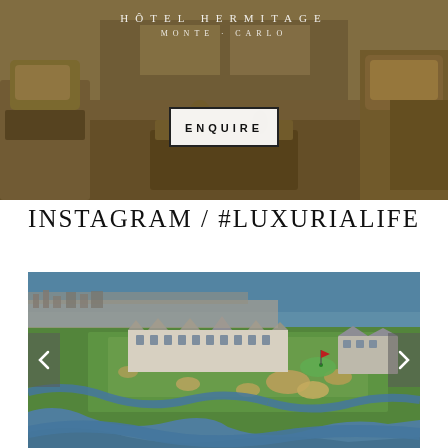[Figure (photo): Hotel interior lounge with elegant furniture, warm golden tones, with hotel name overlay text reading 'MONTE-CARLO' and an ENQUIRE button]
INSTAGRAM / #LUXURIALIFE
[Figure (photo): Aerial view of a seaside golf course with green fairways, sand bunkers, water channels, a white hotel building, and ocean in the background. Navigation arrows on left and right sides.]